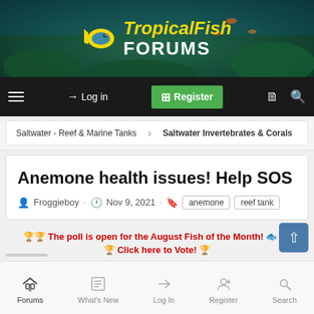[Figure (screenshot): TropicalFish Forums website header banner with underwater reef background, fish logo, and site name 'TropicalFish FORUMS' in yellow and white text]
TropicalFish FORUMS — navigation bar with hamburger menu, Log in, Register, and search icons
Saltwater - Reef & Marine Tanks  >  Saltwater Invertebrates & Corals
Anemone health issues! Help SOS
Froggieboy · Nov 9, 2021 · anemone  reef tank
🏆🏆 The poll is open for the August Fish of the Month! 🐟 🏆
🏆 Click here to Vote! 🏆
Forums  What's New  Log In  Register  Search